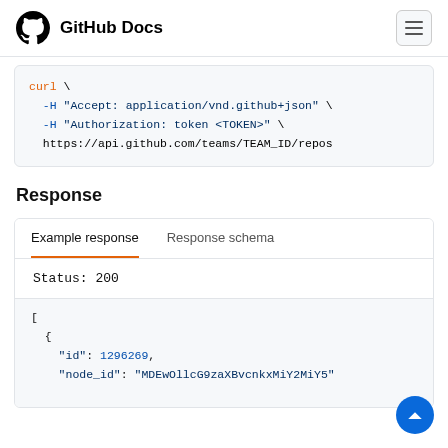GitHub Docs
curl \
  -H "Accept: application/vnd.github+json" \
  -H "Authorization: token <TOKEN>" \
  https://api.github.com/teams/TEAM_ID/repos
Response
Example response	Response schema
Status: 200
[
  {
    "id": 1296269,
    "node_id": "MDEwOllcG9zaXBvcnkxMiY2MiY5"